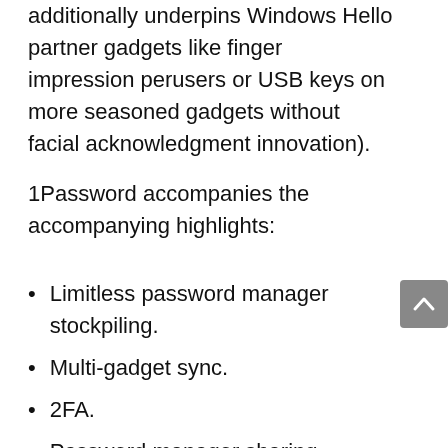additionally underpins Windows Hello partner gadgets like finger impression perusers or USB keys on more seasoned gadgets without facial acknowledgment innovation).
1Password accompanies the accompanying highlights:
Limitless password manager stockpiling.
Multi-gadget sync.
2FA.
Password manager sharing.
Password Manager security auditing.
Dark web Monitoring.